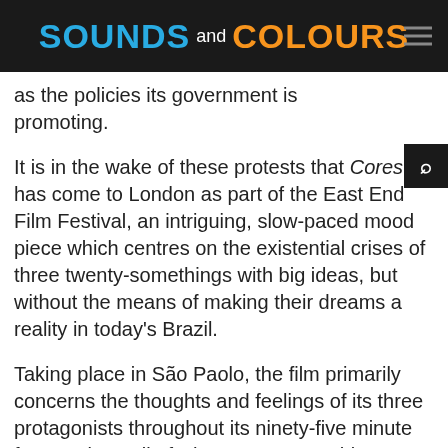SOUNDS and COLOURS
as the policies its government is promoting.
It is in the wake of these protests that Cores has come to London as part of the East End Film Festival, an intriguing, slow-paced mood piece which centres on the existential crises of three twenty-somethings with big ideas, but without the means of making their dreams a reality in today's Brazil.
Taking place in São Paolo, the film primarily concerns the thoughts and feelings of its three protagonists throughout its ninety-five minute feature time, all of whom want something different from life but are stuck in exactly the same rut of inaction and debt.
Tattoo artist Luca (Pedro di Pietro) is still living with his